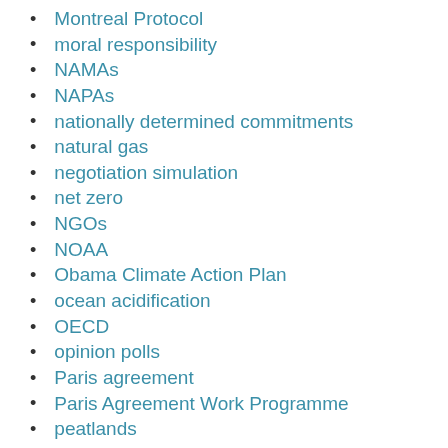Montreal Protocol
moral responsibility
NAMAs
NAPAs
nationally determined commitments
natural gas
negotiation simulation
net zero
NGOs
NOAA
Obama Climate Action Plan
ocean acidification
OECD
opinion polls
Paris agreement
Paris Agreement Work Programme
peatlands
Pope Francis
Presidents Climate Action Plan